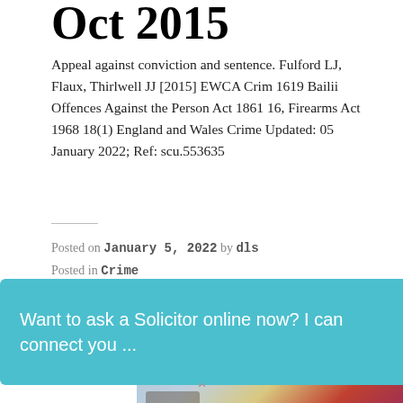Oct 2015
Appeal against conviction and sentence. Fulford LJ, Flaux, Thirlwell JJ [2015] EWCA Crim 1619 Bailii Offences Against the Person Act 1861 16, Firearms Act 1968 18(1) England and Wales Crime Updated: 05 January 2022; Ref: scu.553635
Posted on January 5, 2022 by dls
Posted in Crime
Yong v Regina: CACD 21
[Figure (photo): Partial photo of an aircraft with red and yellow livery]
Want to ask a Solicitor online now? I can connect you ...